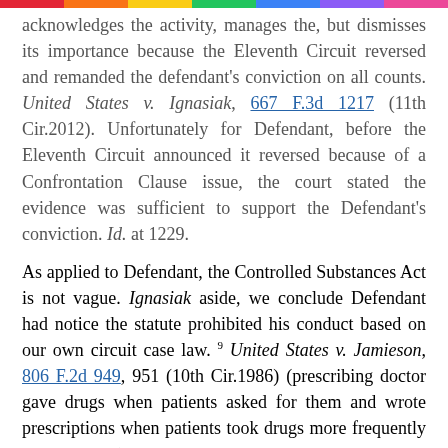acknowledges the activity, manages the, but dismisses its importance because the Eleventh Circuit reversed and remanded the defendant's conviction on all counts. United States v. Ignasiak, 667 F.3d 1217 (11th Cir.2012). Unfortunately for Defendant, before the Eleventh Circuit announced it reversed because of a Confrontation Clause issue, the court stated the evidence was sufficient to support the Defendant's conviction. Id. at 1229.
As applied to Defendant, the Controlled Substances Act is not vague. Ignasiak aside, we conclude Defendant had notice the statute prohibited his conduct based on our own circuit case law. 9 United States v. Jamieson, 806 F.2d 949, 951 (10th Cir.1986) (prescribing doctor gave drugs when patients asked for them and wrote prescriptions when patients took drugs more frequently than directed); United States v. Varma, 691 F.2d 460, 464 (10th Cir.1982) (prescribing doctor took incomplete medical histories and